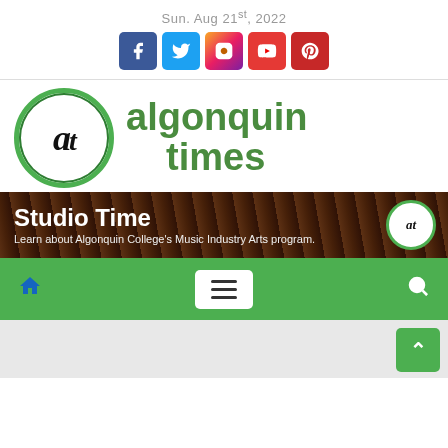Sun. Aug 21st, 2022
[Figure (logo): Social media icons: Facebook, Twitter, Instagram, YouTube, Pinterest]
[Figure (logo): Algonquin Times logo with circular 'at' emblem and green text 'algonquin times']
[Figure (illustration): Studio Time banner ad: 'Learn about Algonquin College's Music Industry Arts program.' with microphone background]
[Figure (infographic): Green navigation bar with home icon, hamburger menu, and search icon]
[Figure (screenshot): Light grey content area with green back-to-top button (^) in bottom right corner]